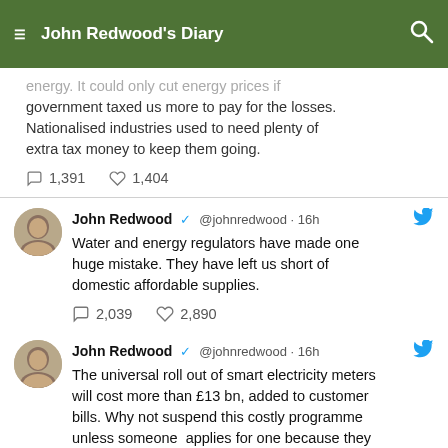John Redwood's Diary
energy. It could only cut energy prices if government taxed us more to pay for the losses. Nationalised industries used to need plenty of extra tax money to keep them going. [comments: 1,391] [likes: 1,404]
John Redwood @johnredwood · 16h — Water and energy regulators have made one huge mistake. They have left us short of domestic affordable supplies. [comments: 2,039] [likes: 2,890]
John Redwood @johnredwood · 16h — The universal roll out of smart electricity meters will cost more than £13 bn, added to customer bills. Why not suspend this costly programme unless someone applies for one because they really want one? We need to reduce electricity